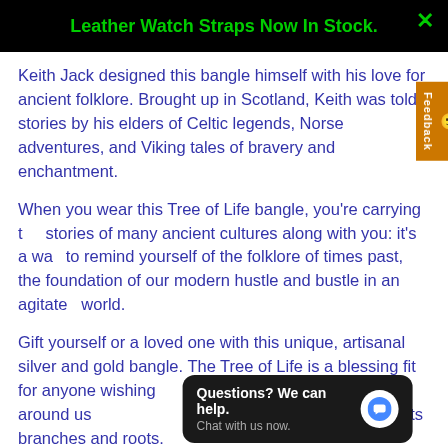Leather Watch Straps Now In Stock.
Keith Jack designed this bangle himself with his love for ancient folklore. Brought up in Scotland, Keith was told stories by his elders of Celtic legends, Norse adventures, and Viking tales of bravery and enchantment.
When you wear this Tree of Life bangle, you're carrying the stories of many ancient cultures along with you: it's a way to remind yourself of the folklore of times past, the foundation of our modern hustle and bustle in an agitated world.
Gift yourself or a loved one with this unique, artisanal silver and gold bangle. The Tree of Life is a blessing fit for anyone wishing to stay connected with the world around us and with those of yesterday, intertwined in its branches and roots.